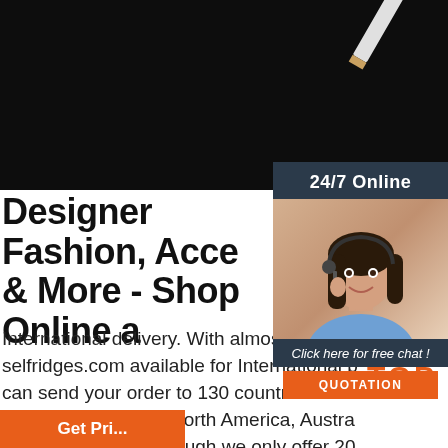[Figure (photo): Dark banner background at top of page with partial image of a pencil/pen in top right corner]
[Figure (infographic): Sidebar widget with dark blue-grey background showing '24/7 Online', photo of a woman with headset (customer service rep), 'Click here for free chat!' text, and orange QUOTATION button]
Designer Fashion, Acce & More - Shop Online a
International delivery. With almost everyth selfridges.com available for International b can send your order to 130 countries or re the world, including North America, Austra East and China. Although we only offer 20 currencies to browse in online, you can still deliver to all of the following ...
[Figure (other): Orange dot-pattern and TOP text badge in bottom right]
[Figure (other): Orange 'Get Price' button at bottom left (partially visible)]